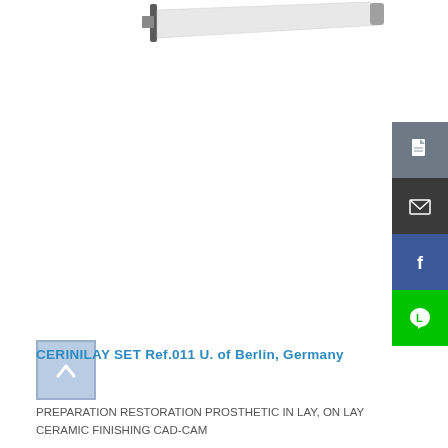[Figure (photo): Partial view of a dental/prosthetic device (CERINILAY SET) shown at top of page against white background]
[Figure (infographic): Side panel with four social/share buttons: document (grey), email (dark grey), Facebook (blue), Line (green)]
[Figure (other): Light blue scroll-to-top button with upward chevron arrow]
CERINILAY SET Ref.011 U. of Berlin, Germany
PREPARATION RESTORATION PROSTHETIC IN LAY, ON LAY CERAMIC FINISHING CAD-CAM